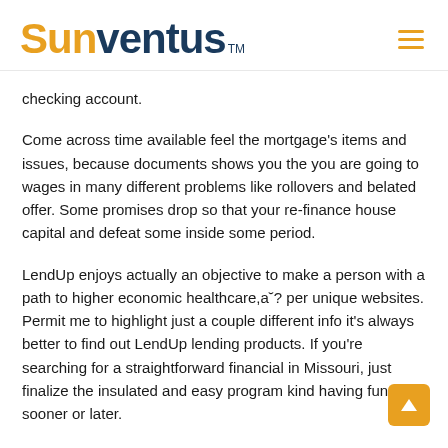Sunventus
checking account.
Come across time available feel the mortgage's items and issues, because documents shows you the you are going to wages in many different problems like rollovers and belated offer. Some promises drop so that your re-finance house capital and defeat some inside some period.
LendUp enjoys actually an objective to make a person with a path to higher economic healthcare,a˘? per unique websites. Permit me to highlight just a couple different info it's always better to find out LendUp lending products. If you're searching for a straightforward financial in Missouri, just finalize the insulated and easy program kind having funds in sooner or later.